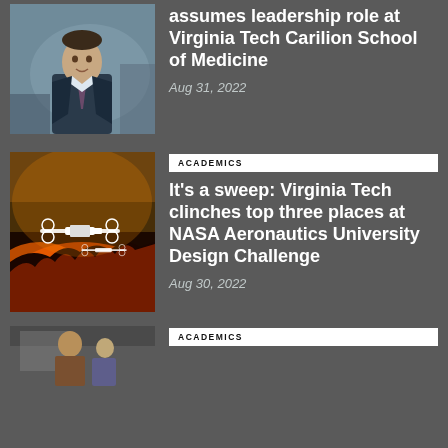[Figure (photo): Man in suit standing outdoors, partial view, news thumbnail]
assumes leadership role at Virginia Tech Carilion School of Medicine
Aug 31, 2022
[Figure (photo): Drone aircraft flying over wildfire at night, NASA aeronautics challenge thumbnail]
ACADEMICS
It's a sweep: Virginia Tech clinches top three places at NASA Aeronautics University Design Challenge
Aug 30, 2022
[Figure (photo): Classroom or lecture scene, partial view at bottom of page]
ACADEMICS